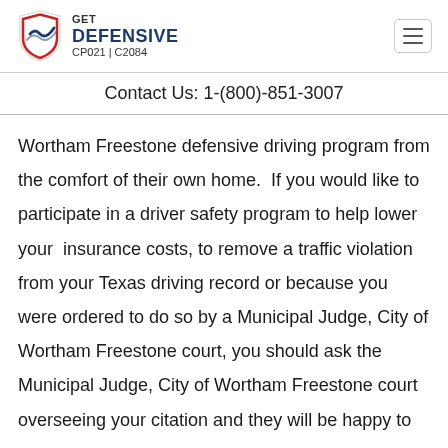[Figure (logo): Get Defensive driving school logo with shield icon, text GET DEFENSIVE CP021 | C2084]
Contact Us: 1-(800)-851-3007
Wortham Freestone defensive driving program from the comfort of their own home.  If you would like to participate in a driver safety program to help lower your  insurance costs, to remove a traffic violation from your Texas driving record or because you were ordered to do so by a Municipal Judge, City of Wortham Freestone court, you should ask the Municipal Judge, City of Wortham Freestone court overseeing your citation and they will be happy to